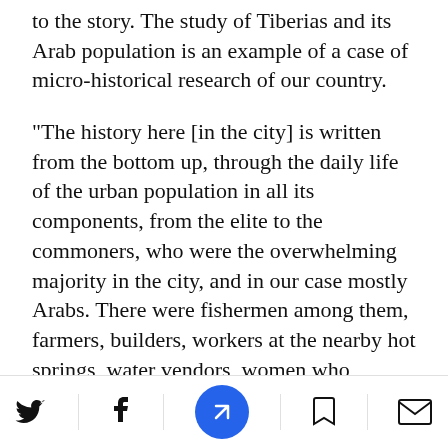to the story. The study of Tiberias and its Arab population is an example of a case of micro-historical research of our country.
"The history here [in the city] is written from the bottom up, through the daily life of the urban population in all its components, from the elite to the commoners, who were the overwhelming majority in the city, and in our case mostly Arabs. There were fishermen among them, farmers, builders, workers at the nearby hot springs, water vendors, women who worked in the tourism industry, drivers and coach owners, and emigrants who came
social share and navigation bar